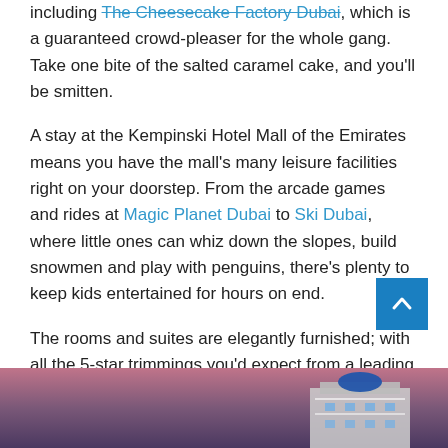including The Cheesecake Factory Dubai, which is a guaranteed crowd-pleaser for the whole gang. Take one bite of the salted caramel cake, and you'll be smitten.
A stay at the Kempinski Hotel Mall of the Emirates means you have the mall's many leisure facilities right on your doorstep. From the arcade games and rides at Magic Planet Dubai to Ski Dubai, where little ones can whiz down the slopes, build snowmen and play with penguins, there's plenty to keep kids entertained for hours on end.
The rooms and suites are elegantly furnished; with all the 5-star trimmings you'd expect from a leading hotel chain. We recommend splurging for one of the mountain lodge-inspired Aspen chalets, the largest of which features three bedrooms and offers windows overlooking Ski Dubai's winter wonderland.
[Figure (photo): Partial view of a building at dusk/night with blue and white architectural details, sky in background]